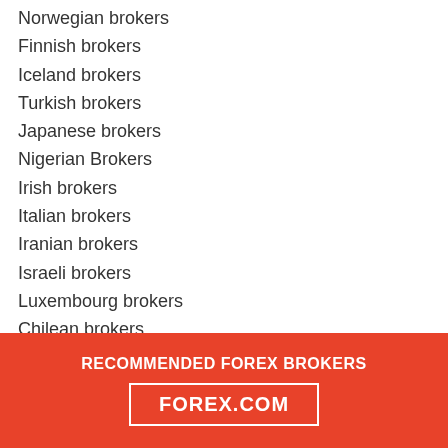Norwegian brokers
Finnish brokers
Iceland brokers
Turkish brokers
Japanese brokers
Nigerian Brokers
Irish brokers
Italian brokers
Iranian brokers
Israeli brokers
Luxembourg brokers
Chilean brokers
Costa Rica brokers
Peruvian brokers
Guatemala brokers
El Salvador brokers
Uruguayan brokers
Belize brokers
Panama brokers
Filipino brokers
RECOMMENDED FOREX BROKERS
FOREX.COM